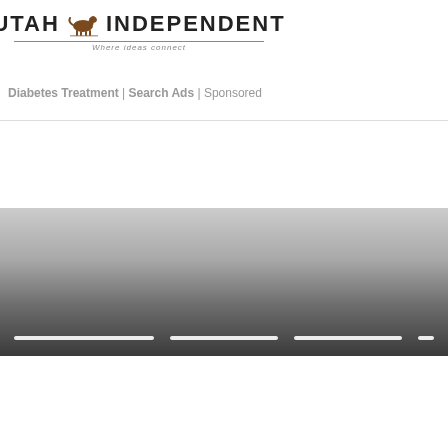[Figure (logo): Utah Independent newspaper logo with horse icon, horizontal rule, and tagline 'Where ideas connect']
Diabetes Treatment | Search Ads | Sponsored
[Figure (photo): Road/highway image fading from light grey at top to dark grey at bottom, with dashed white lane markings visible near the bottom]